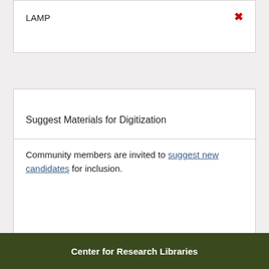LAMP
Suggest Materials for Digitization
Community members are invited to suggest new candidates for inclusion.
While CRL makes every effort to verify statements made herein, the opinions expressed and evaluative information provided here represent the considered viewpoints of individual librarians and specialists at CRL and in the CRL community.  They do not necessarily reflect the views of CRL management, its board, and/or its officers.
Center for Research Libraries